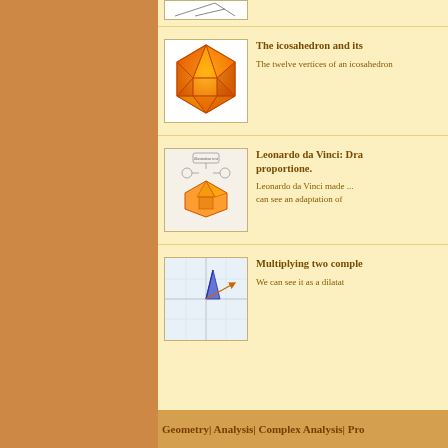[Figure (illustration): Partial thumbnail of a geometric figure at top]
[Figure (illustration): Orange icosahedron 3D geometric shape]
The icosahedron and its
The twelve vertices of an icosahedron
[Figure (illustration): Leonardo da Vinci style diagram of a geometric solid with decorative scrollwork]
Leonardo da Vinci: Draw proportione.
Leonardo da Vinci made ... can see an adaptation of
[Figure (illustration): Complex number multiplication graph with blue and orange vectors on grid]
Multiplying two comple
We can see it as a dilatat
Geometry| Analysis| Complex Analysis| Pro